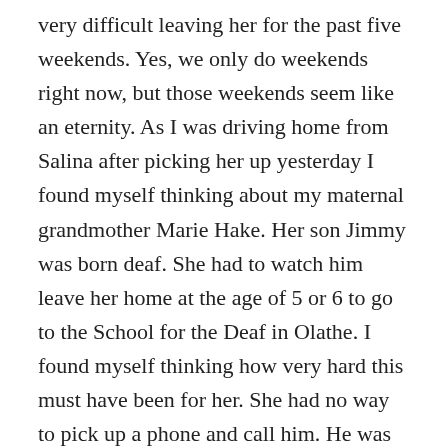very difficult leaving her for the past five weekends. Yes, we only do weekends right now, but those weekends seem like an eternity. As I was driving home from Salina after picking her up yesterday I found myself thinking about my maternal grandmother Marie Hake. Her son Jimmy was born deaf. She had to watch him leave her home at the age of 5 or 6 to go to the School for the Deaf in Olathe. I found myself thinking how very hard this must have been for her. She had no way to pick up a phone and call him. He was only home on holidays, and that is if they could go get him. I remember my mom talking a lot about those years. I realized how lucky I am to have the ability to communicate with the staff at the home to check on Kelli anytime day or night. I realized how deep her